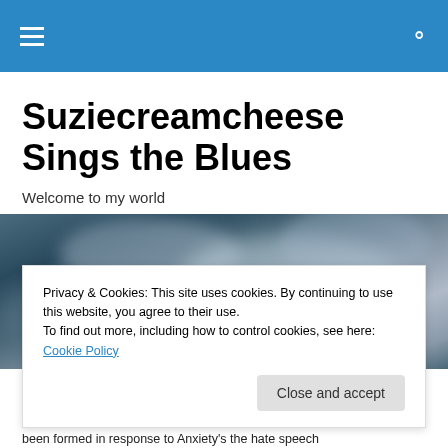Navigation bar with hamburger menu and search icon
Suziecreamcheese Sings the Blues
Welcome to my world
[Figure (photo): Aerial photograph of clouds with a dark blue-grey sky, moody and dramatic cloud formations]
Privacy & Cookies: This site uses cookies. By continuing to use this website, you agree to their use.
To find out more, including how to control cookies, see here: Cookie Policy
Close and accept
been formed in response to Anxiety's the hate speech